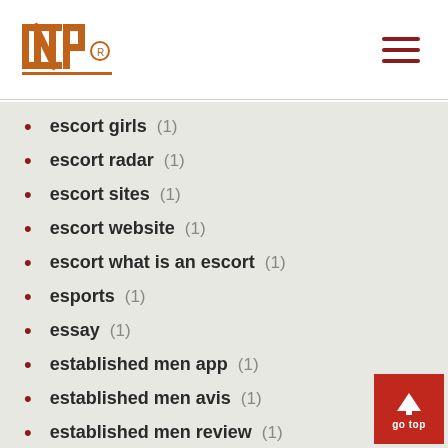INP logo and navigation menu
escort girls (1)
escort radar (1)
escort sites (1)
escort website (1)
escort what is an escort (1)
esports (1)
essay (1)
established men app (1)
established men avis (1)
established men review (1)
ethiopian personal dating (2)